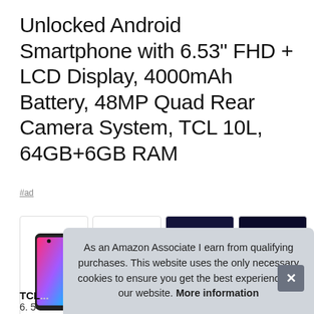Unlocked Android Smartphone with 6.53" FHD + LCD Display, 4000mAh Battery, 48MP Quad Rear Camera System, TCL 10L, 64GB+6GB RAM
#ad
[Figure (photo): Four product thumbnails of TCL 10L smartphone: two showing front colorful display, one showing rear quad camera system, one showing tech specs overlay]
TCL
6. 5
upgrade your visual experience with the sharper details
As an Amazon Associate I earn from qualifying purchases. This website uses the only necessary cookies to ensure you get the best experience on our website. More information